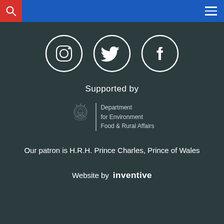[Figure (illustration): Three social media icons in circles: Instagram, Twitter, Facebook — white icons on dark background]
Supported by
[Figure (logo): Department for Environment Food & Rural Affairs logo with royal crest]
Our patron is H.R.H. Prince Charles, Prince of Wales
Website by inventive